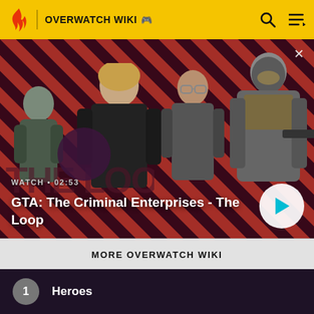OVERWATCH WIKI
[Figure (screenshot): GTA: The Criminal Enterprises - The Loop promotional video banner with characters on a diagonal red-black striped background. Shows WATCH • 02:53 label and play button.]
WATCH • 02:53
GTA: The Criminal Enterprises - The Loop
MORE OVERWATCH WIKI
1  Heroes